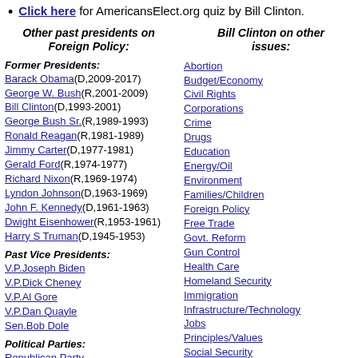Click here for AmericansElect.org quiz by Bill Clinton.
Other past presidents on Foreign Policy:
Bill Clinton on other issues:
Former Presidents:
Barack Obama(D,2009-2017)
George W. Bush(R,2001-2009)
Bill Clinton(D,1993-2001)
George Bush Sr.(R,1989-1993)
Ronald Reagan(R,1981-1989)
Jimmy Carter(D,1977-1981)
Gerald Ford(R,1974-1977)
Richard Nixon(R,1969-1974)
Lyndon Johnson(D,1963-1969)
John F. Kennedy(D,1961-1963)
Dwight Eisenhower(R,1953-1961)
Harry S Truman(D,1945-1953)
Past Vice Presidents:
V.P.Joseph Biden
V.P.Dick Cheney
V.P.Al Gore
V.P.Dan Quayle
Sen.Bob Dole
Political Parties:
Republican Party
Democratic Party
Libertarian Party
Green Party
Reform Party
Natural Law Party
Tea Party
Constitution Party
Abortion
Budget/Economy
Civil Rights
Corporations
Crime
Drugs
Education
Energy/Oil
Environment
Families/Children
Foreign Policy
Free Trade
Govt. Reform
Gun Control
Health Care
Homeland Security
Immigration
Infrastructure/Technology
Jobs
Principles/Values
Social Security
Tax Reform
War/Iraq/Mideast
Welfare/Poverty